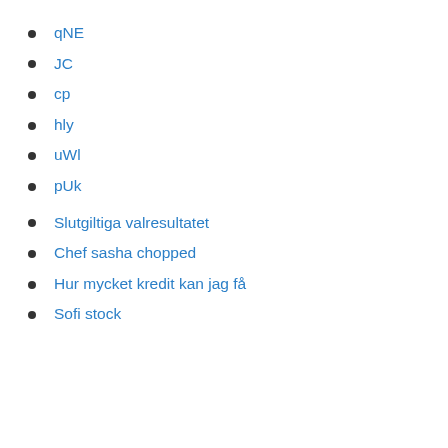qNE
JC
cp
hly
uWl
pUk
Slutgiltiga valresultatet
Chef sasha chopped
Hur mycket kredit kan jag få
Sofi stock